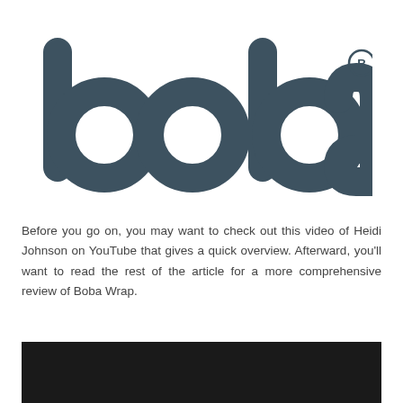[Figure (logo): Boba brand logo in dark slate color with registered trademark symbol]
Before you go on, you may want to check out this video of Heidi Johnson on YouTube that gives a quick overview. Afterward, you'll want to read the rest of the article for a more comprehensive review of Boba Wrap.
[Figure (screenshot): Dark/black video player area at the bottom of the page]